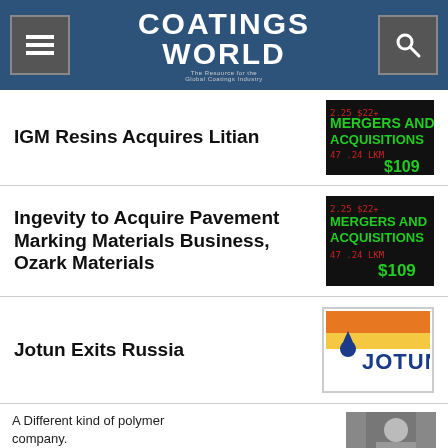Coatings World — The Resource for the Global Coatings Industry
IGM Resins Acquires Litian
[Figure (photo): Mergers and Acquisitions stock ticker board with green and red numbers]
Ingevity to Acquire Pavement Marking Materials Business, Ozark Materials
[Figure (photo): Mergers and Acquisitions stock ticker board with green and red numbers]
Jotun Exits Russia
[Figure (logo): Jotun logo with orange and yellow background]
A Different kind of polymer company.
Learn more
[Figure (photo): Person in lab coat examining sample]
[Figure (illustration): Mountain lake landscape with SYNAQUA 4846 Alkyd Biobased Binder For Sustainable Interior Paints and ARKEMA logo]